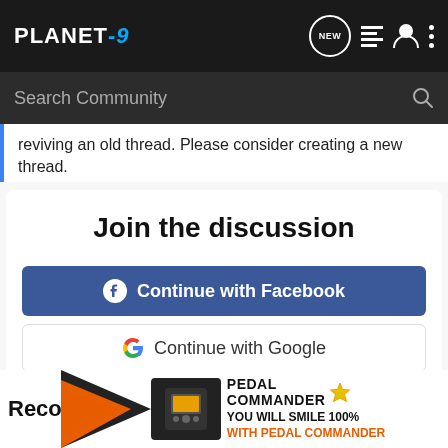PLANET-9
Search Community
reviving an old thread. Please consider creating a new thread.
Join the discussion
Continue with Facebook
Continue with Google
or sign up with email
Reco
[Figure (illustration): Pedal Commander advertisement banner with orange arrow graphic, product device image, logo and tagline 'YOU WILL SMILE 100% WITH PEDAL COMMANDER']